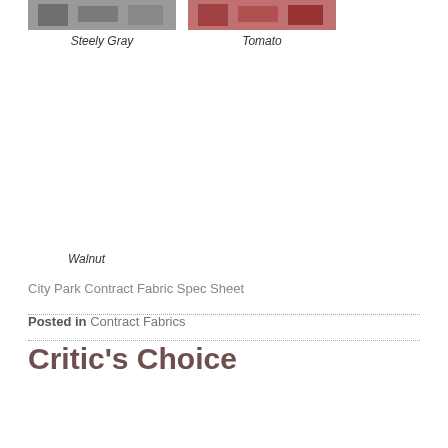[Figure (photo): Steely Gray fabric swatch showing a grayish upholstered chair/sofa]
Steely Gray
[Figure (photo): Tomato fabric swatch showing a reddish upholstered chair/sofa]
Tomato
Walnut
City Park Contract Fabric Spec Sheet
Posted in Contract Fabrics
Critic’s Choice